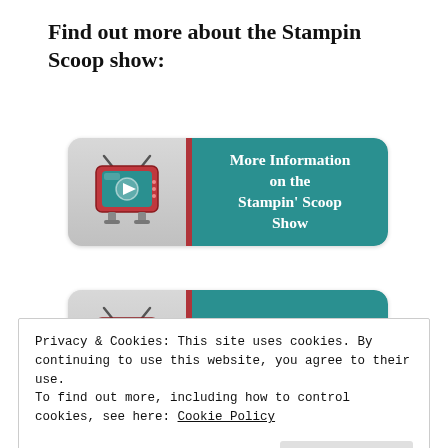Find out more about the Stampin Scoop show:
[Figure (illustration): Teal rounded button with cartoon TV icon on left grey panel and text 'More Information on the Stampin' Scoop Show' on teal right panel]
[Figure (illustration): Teal rounded button with cartoon TV icon on left grey panel and text 'Prior Stampin' Scoop Shows' on teal right panel]
[Figure (illustration): Partial teal rounded button with red left panel, partially visible, text 'Stampin' Scoo...' visible]
Privacy & Cookies: This site uses cookies. By continuing to use this website, you agree to their use.
To find out more, including how to control cookies, see here: Cookie Policy
Close and accept